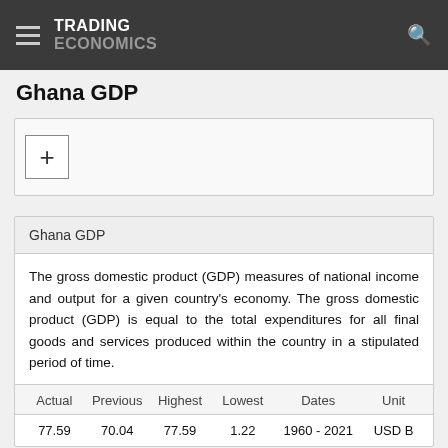TRADING ECONOMICS
Ghana GDP
[Figure (other): Plus button widget card for adding to portfolio or watchlist]
Ghana GDP
The gross domestic product (GDP) measures of national income and output for a given country's economy. The gross domestic product (GDP) is equal to the total expenditures for all final goods and services produced within the country in a stipulated period of time.
| Actual | Previous | Highest | Lowest | Dates | Unit |
| --- | --- | --- | --- | --- | --- |
| 77.59 | 70.04 | 77.59 | 1.22 | 1960 - 2021 | USD B |